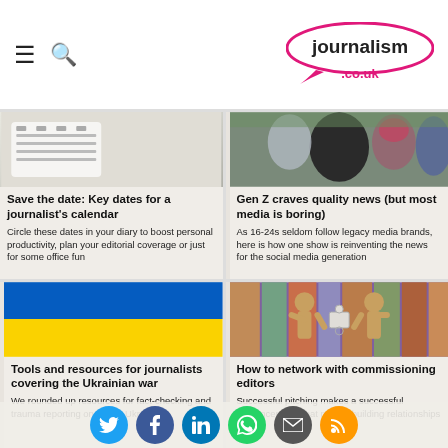journalism.co.uk
[Figure (photo): Calendar/desk photo placeholder for 'Save the date' article]
Save the date: Key dates for a journalist's calendar
Circle these dates in your diary to boost personal productivity, plan your editorial coverage or just for some office fun
[Figure (photo): Group of people photo for Gen Z article]
Gen Z craves quality news (but most media is boring)
As 16-24s seldom follow legacy media brands, here is how one show is reinventing the news for the social media generation
[Figure (photo): Ukrainian flag photo]
Tools and resources for journalists covering the Ukrainian war
We rounded up resources for fact-checking and trauma reporting on and in Ukraine
[Figure (photo): Wooden mannequins shaking hands with puzzle piece — networking concept]
How to network with commissioning editors
Successful pitching makes a successful freelancer, and that means building relationships